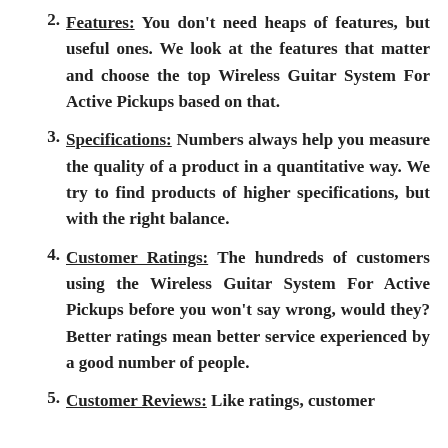2. Features: You don't need heaps of features, but useful ones. We look at the features that matter and choose the top Wireless Guitar System For Active Pickups based on that.
3. Specifications: Numbers always help you measure the quality of a product in a quantitative way. We try to find products of higher specifications, but with the right balance.
4. Customer Ratings: The hundreds of customers using the Wireless Guitar System For Active Pickups before you won't say wrong, would they? Better ratings mean better service experienced by a good number of people.
5. Customer Reviews: Like ratings, customer